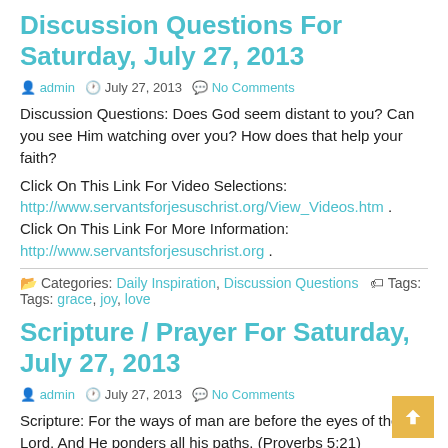Discussion Questions For Saturday, July 27, 2013
admin  July 27, 2013  No Comments
Discussion Questions: Does God seem distant to you? Can you see Him watching over you? How does that help your faith?
Click On This Link For Video Selections: http://www.servantsforjesuschrist.org/View_Videos.htm . Click On This Link For More Information: http://www.servantsforjesuschrist.org .
Categories: Daily Inspiration, Discussion Questions  Tags: Tags: grace, joy, love
Scripture / Prayer For Saturday, July 27, 2013
admin  July 27, 2013  No Comments
Scripture: For the ways of man are before the eyes of the Lord, And He ponders all his paths. (Proverbs 5:21)